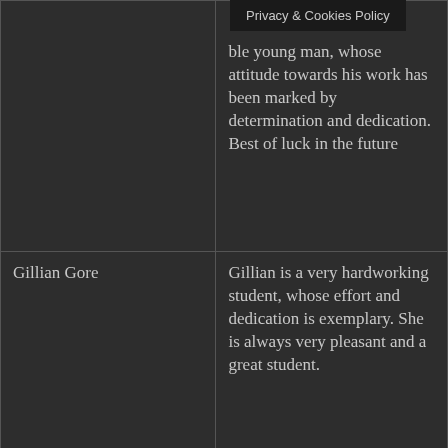| Name | Comment |
| --- | --- |
|  | ble young man, whose attitude towards his work has been marked by determination and dedication. Best of luck in the future |
| Gillian Gore | Gillian is a very hardworking student, whose effort and dedication is exemplary. She is always very pleasant and a great student. |
| Ella Dore | Ella is a very diligent student, whose consistent effort and |